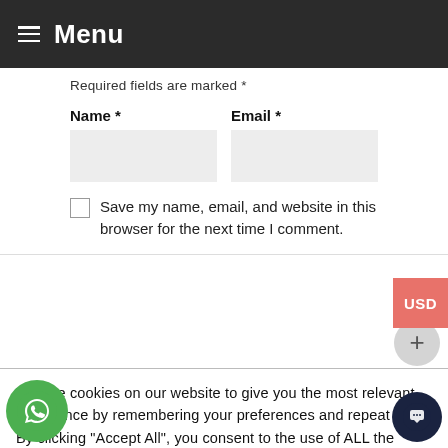Menu
Required fields are marked *
Name *
Email *
Save my name, email, and website in this browser for the next time I comment.
We use cookies on our website to give you the most relevant experience by remembering your preferences and repeat visits. By clicking "Accept All", you consent to the use of ALL the cookies. However, you may visit "Cookie Settings" to provide a controlled consent.
Cookie Settings
Accept All